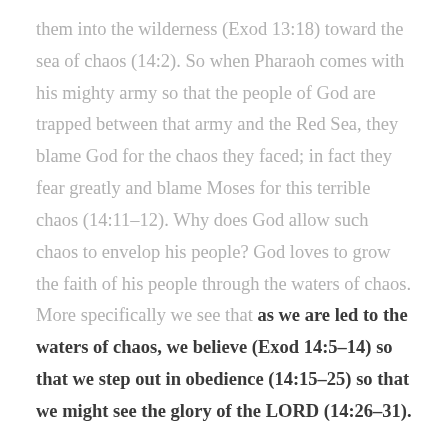them into the wilderness (Exod 13:18) toward the sea of chaos (14:2). So when Pharaoh comes with his mighty army so that the people of God are trapped between that army and the Red Sea, they blame God for the chaos they faced; in fact they fear greatly and blame Moses for this terrible chaos (14:11–12). Why does God allow such chaos to envelop his people? God loves to grow the faith of his people through the waters of chaos. More specifically we see that as we are led to the waters of chaos, we believe (Exod 14:5–14) so that we step out in obedience (14:15–25) so that we might see the glory of the LORD (14:26–31).